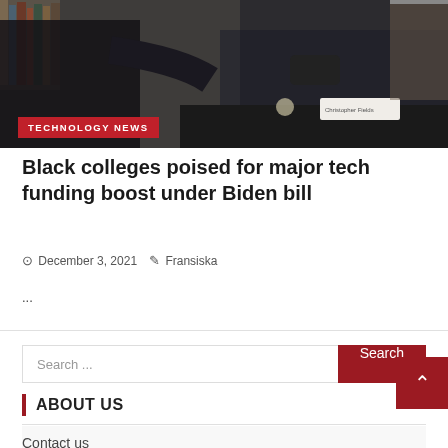[Figure (photo): Two people doing an elbow bump greeting in an office/library setting. One person in a dark suit, the other wearing a black mask and dark jacket. Bookshelves visible in background.]
TECHNOLOGY NEWS
Black colleges poised for major tech funding boost under Biden bill
December 3, 2021   Fransiska
...
Search ...
ABOUT US
Contact us